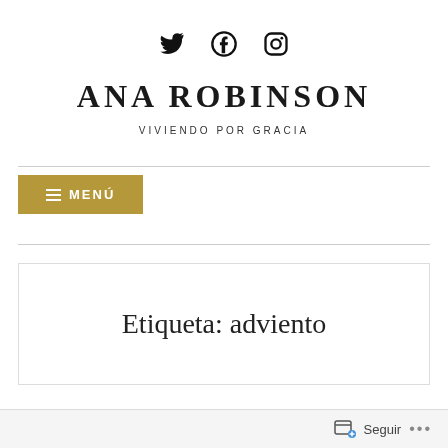[Figure (other): Social media icons: Twitter bird, Facebook circle, Instagram camera]
ANA ROBINSON
VIVIENDO POR GRACIA
[Figure (other): Menu button with hamburger icon labeled MENÚ on gold/olive background]
Etiqueta: adviento
[Figure (other): Follow bar at bottom with subscribe/follow icon, Seguir text, and ellipsis dots]